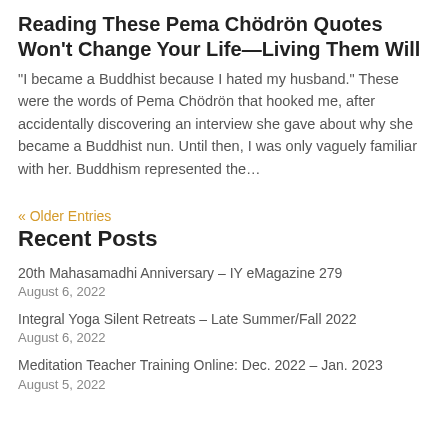Reading These Pema Chödrön Quotes Won't Change Your Life—Living Them Will
“I became a Buddhist because I hated my husband.” These were the words of Pema Chödrön that hooked me, after accidentally discovering an interview she gave about why she became a Buddhist nun. Until then, I was only vaguely familiar with her. Buddhism represented the…
« Older Entries
Recent Posts
20th Mahasamadhi Anniversary – IY eMagazine 279 August 6, 2022
Integral Yoga Silent Retreats – Late Summer/Fall 2022 August 6, 2022
Meditation Teacher Training Online: Dec. 2022 – Jan. 2023 August 5, 2022